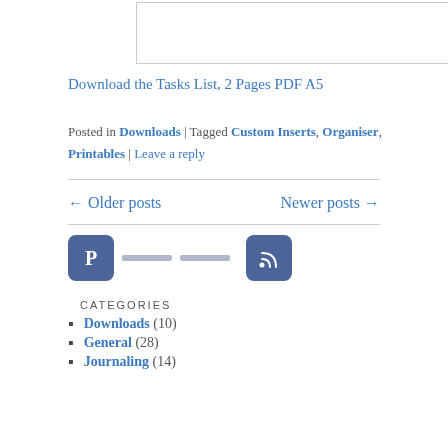[Figure (other): Image placeholder with border (partial document preview)]
Download the Tasks List, 2 Pages PDF A5
Posted in Downloads | Tagged Custom Inserts, Organiser, Printables | Leave a reply
← Older posts
Newer posts →
[Figure (other): Social media icons: Pinterest icon, two dashes/lines, RSS feed icon]
CATEGORIES
Downloads (10)
General (28)
Journaling (14)